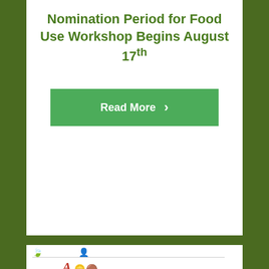Nomination Period for Food Use Workshop Begins August 17th
[Figure (screenshot): Green 'Read More' button with right-pointing chevron arrow]
[Figure (screenshot): Partial screenshot of another webpage card showing a leaf icon, person icon, a horizontal separator line, and partial logo with red italic letter A and gold coin icons]